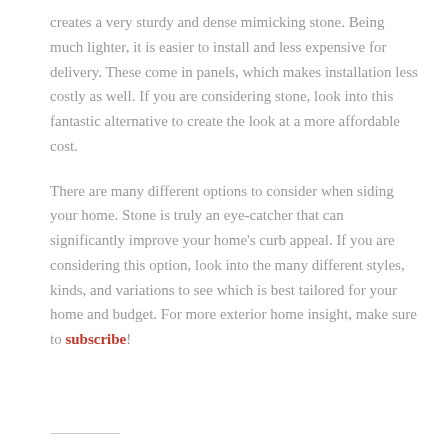creates a very sturdy and dense mimicking stone. Being much lighter, it is easier to install and less expensive for delivery. These come in panels, which makes installation less costly as well. If you are considering stone, look into this fantastic alternative to create the look at a more affordable cost.
There are many different options to consider when siding your home. Stone is truly an eye-catcher that can significantly improve your home's curb appeal. If you are considering this option, look into the many different styles, kinds, and variations to see which is best tailored for your home and budget. For more exterior home insight, make sure to subscribe!